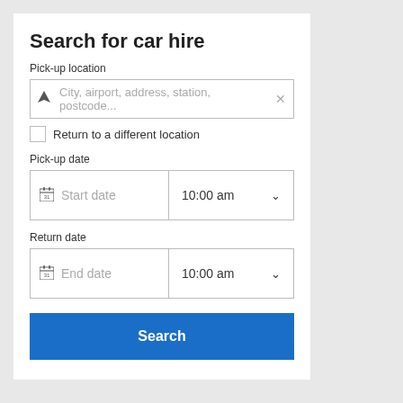Search for car hire
Pick-up location
[Figure (screenshot): Text input field with location icon and placeholder text 'City, airport, address, station, postcode...' and an X clear button]
Return to a different location
Pick-up date
[Figure (screenshot): Date picker row: left side shows calendar icon with placeholder 'Start date', right side shows '10:00 am' with dropdown chevron]
Return date
[Figure (screenshot): Date picker row: left side shows calendar icon with placeholder 'End date', right side shows '10:00 am' with dropdown chevron]
Search